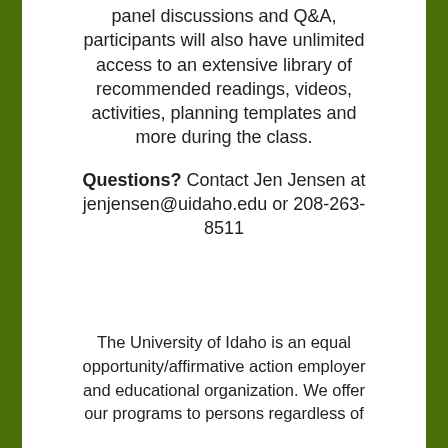panel discussions and Q&A, participants will also have unlimited access to an extensive library of recommended readings, videos, activities, planning templates and more during the class.
Questions? Contact Jen Jensen at jenjensen@uidaho.edu or 208-263-8511
The University of Idaho is an equal opportunity/affirmative action employer and educational organization. We offer our programs to persons regardless of